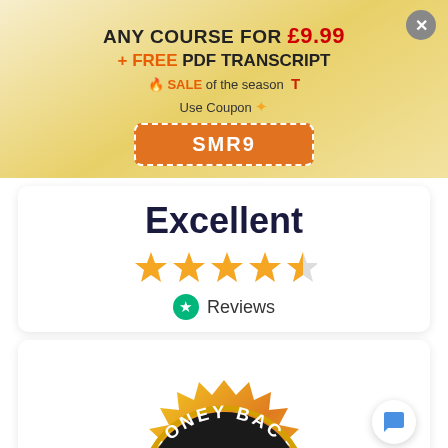ANY COURSE FOR £9.99 + FREE PDF TRANSCRIPT 🔥 SALE of the season T
Use Coupon ⭐
SMR9
Excellent
[Figure (other): 4.5 star rating row with golden stars]
Reviews
[Figure (other): Money back guarantee badge, partially visible, showing MONEY BAC text on dark arc with gold sunburst design]